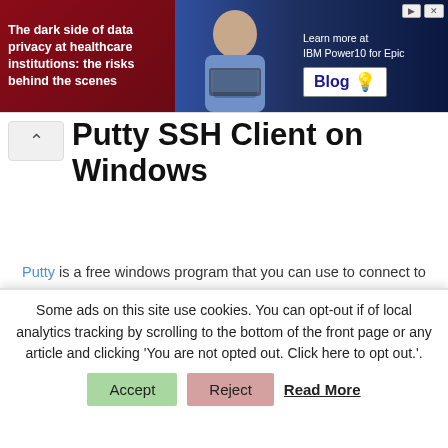[Figure (infographic): Advertisement banner: dark blue/red gradient background with text 'The dark side of data privacy at healthcare institutions: the risks behind the scenes', a person holding a laptop, server racks, and a 'Learn more at IBM Power10 for Epic Blog' call to action with blog button.]
Putty SSH Client on Windows
Putty is a free windows program that you can use to connect to serves via SSH. Download and install the Putty program.
Open Putty
Some ads on this site use cookies. You can opt-out if of local analytics tracking by scrolling to the bottom of the front page or any article and clicking 'You are not opted out. Click here to opt out.'.